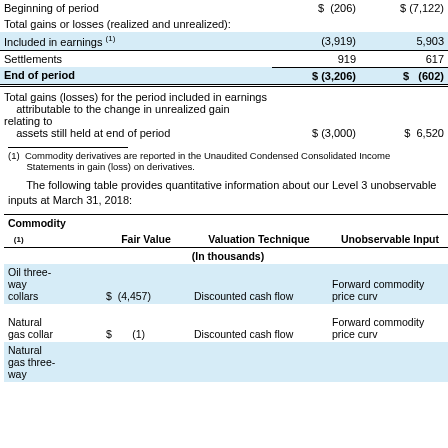|  | Col1 | Col2 |
| --- | --- | --- |
| Beginning of period | $ (206) | $ (7,122) |
| Total gains or losses (realized and unrealized): |  |  |
| Included in earnings (1) | (3,919) | 5,903 |
| Settlements | 919 | 617 |
| End of period | $ (3,206) | $ (602) |
| Total gains (losses) for the period included in earnings attributable to the change in unrealized gain relating to assets still held at end of period | $ (3,000) | $ 6,520 |
(1) Commodity derivatives are reported in the Unaudited Condensed Consolidated Income Statements in gain (loss) on derivatives.
The following table provides quantitative information about our Level 3 unobservable inputs at March 31, 2018:
| Commodity (1) | Fair Value | Valuation Technique | Unobservable Input |
| --- | --- | --- | --- |
| (In thousands) |  |  |  |
| Oil three-way collars | $ (4,457) | Discounted cash flow | Forward commodity price curv |
| Natural gas collar | $ (1) | Discounted cash flow | Forward commodity price curv |
| Natural gas three-way |  |  |  |